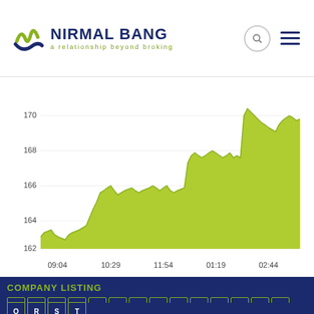NIRMAL BANG — a relationship beyond broking
[Figure (area-chart): Stock price chart]
COMPANY LISTING
A B C D E F G H I J K L M N O P Q R S T U V W X Y Z 1-9